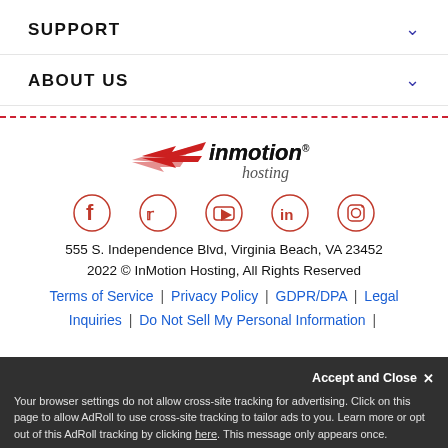SUPPORT
ABOUT US
[Figure (logo): InMotion Hosting logo with red speed stripe graphic and 'inmotion. hosting' text]
[Figure (infographic): Social media icons: Facebook, Twitter, YouTube, LinkedIn, Instagram — all in red/dark color]
555 S. Independence Blvd, Virginia Beach, VA 23452
2022 © InMotion Hosting, All Rights Reserved
Terms of Service | Privacy Policy | GDPR/DPA | Legal Inquiries | Do Not Sell My Personal Information |
AdRoll overlay: Accept and Close. Your browser settings do not allow cross-site tracking for advertising. Click on this page to allow AdRoll to use cross-site tracking to tailor ads to you. Learn more or opt out of this AdRoll tracking by clicking here. This message only appears once.